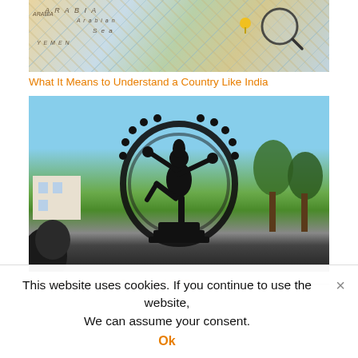[Figure (photo): A colorful map showing the Arabian Sea region with a magnifying glass on it, showing the Middle East, Arabian Peninsula, and India area]
What It Means to Understand a Country Like India
[Figure (photo): A silhouette of a Nataraja (dancing Shiva) statue against a blue sky with trees and a building in the background, with a person's head visible in the foreground]
This website uses cookies. If you continue to use the website, We can assume your consent.
Ok